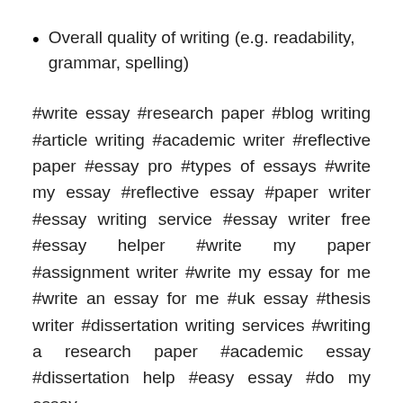Overall quality of writing (e.g. readability, grammar, spelling)
#write essay #research paper #blog writing #article writing #academic writer #reflective paper #essay pro #types of essays #write my essay #reflective essay #paper writer #essay writing service #essay writer free #essay helper #write my paper #assignment writer #write my essay for me #write an essay for me #uk essay #thesis writer #dissertation writing services #writing a research paper #academic essay #dissertation help #easy essay #do my essay